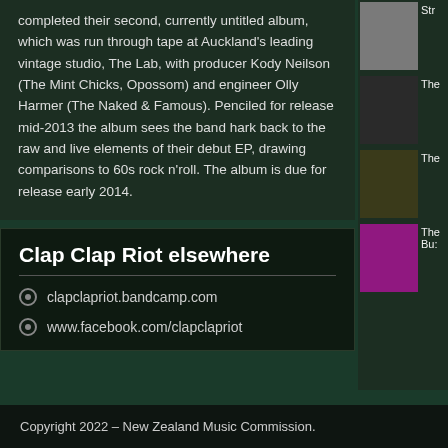completed their second, currently untitled album, which was run through tape at Auckland's leading vintage studio, The Lab, with producer Kody Neilson (The Mint Chicks, Opossom) and engineer Olly Harmer (The Naked & Famous). Penciled for release mid-2013 the album sees the band hark back to the raw and live elements of their debut EP, drawing comparisons to 60s rock n'roll. The album is due for release early 2014.
Clap Clap Riot elsewhere
clapclapriot.bandcamp.com
www.facebook.com/clapclapriot
[Figure (photo): Small thumbnail photo 1 in sidebar]
[Figure (photo): Small thumbnail photo 2 in sidebar]
[Figure (photo): Small thumbnail photo 3 in sidebar]
[Figure (photo): Small thumbnail photo 4 in sidebar - pink/magenta group]
Copyright 2022 – New Zealand Music Commission.